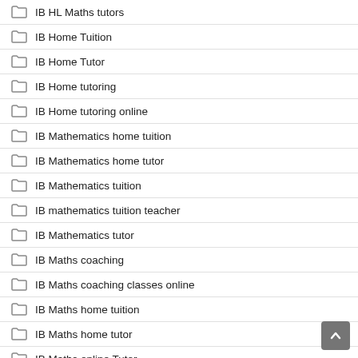IB HL Maths tutors
IB Home Tuition
IB Home Tutor
IB Home tutoring
IB Home tutoring online
IB Mathematics home tuition
IB Mathematics home tutor
IB Mathematics tuition
IB mathematics tuition teacher
IB Mathematics tutor
IB Maths coaching
IB Maths coaching classes online
IB Maths home tuition
IB Maths home tutor
IB Maths online Tutor